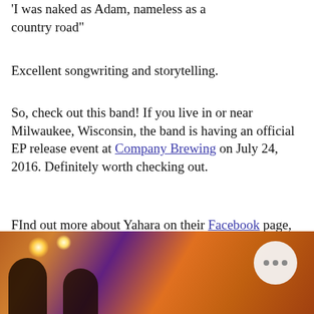'I was naked as Adam, nameless as a country road"
Excellent songwriting and storytelling.
So, check out this band! If you live in or near Milwaukee, Wisconsin, the band is having an official EP release event at Company Brewing on July 24, 2016. Definitely worth checking out.
FInd out more about Yahara on their Facebook page, and check out their Bandcamp page for details of their "New Year's Day" EP after its official release.
[Figure (photo): Indoor concert/band photo with silhouetted figures in foreground, warm stage lighting, colorful background panels; a circular button overlay with three dots (ellipsis) appears in upper right of photo.]